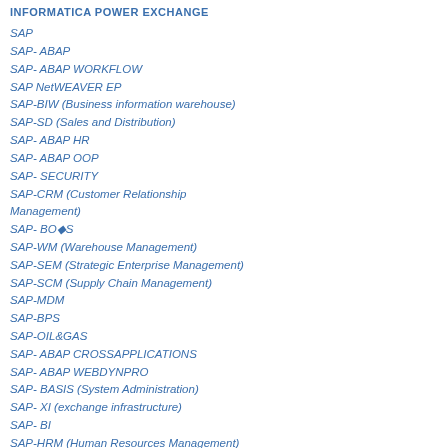INFORMATICA POWER EXCHANGE
SAP
SAP- ABAP
SAP- ABAP WORKFLOW
SAP NetWEAVER EP
SAP-BIW (Business information warehouse)
SAP-SD (Sales and Distribution)
SAP- ABAP HR
SAP- ABAP OOP
SAP- SECURITY
SAP-CRM (Customer Relationship Management)
SAP- BO�S
SAP-WM (Warehouse Management)
SAP-SEM (Strategic Enterprise Management)
SAP-SCM (Supply Chain Management)
SAP-MDM
SAP-BPS
SAP-OIL&GAS
SAP- ABAP CROSSAPPLICATIONS
SAP- ABAP WEBDYNPRO
SAP- BASIS (System Administration)
SAP- XI (exchange infrastructure)
SAP- BI
SAP-HRM (Human Resources Management)
SAP-FICO(Finance and Controlling)
SAP-PP(Production Planning)